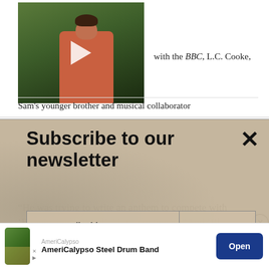[Figure (screenshot): Video thumbnail showing a person in pink/red clothing against a green floral background, with a white play button triangle overlaid]
with the BBC, L.C. Cooke, Sam's younger brother and musical collaborator
[Figure (screenshot): Newsletter subscription overlay with beige/tan textured background. Title: 'Subscribe to our newsletter'. Email input field with placeholder 'Your e-mail address' and 'SIGN UP' button. Close X button in top right.]
sat down to write 'A Change Gonna Come.'
“He was trying to write an anthem to compete with ‘Blowin’ in the Wind',” L.C. continues. “And 'Bl
[Figure (screenshot): Advertisement banner for AmeriCalypso Steel Drum Band with app icon, source label 'AmeriCalypso', bold title text, and blue 'Open' button]